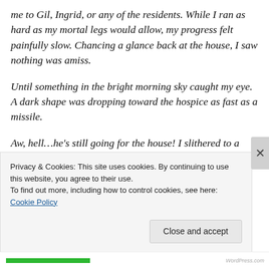me to Gil, Ingrid, or any of the residents. While I ran as hard as my mortal legs would allow, my progress felt painfully slow. Chancing a glance back at the house, I saw nothing was amiss.
Until something in the bright morning sky caught my eye. A dark shape was dropping toward the hospice as fast as a missile.
Aw, hell…he's still going for the house! I slithered to a halt on the damp grass. The dark shape became clearer. At the speed he was moving, with the strength and rage he
Privacy & Cookies: This site uses cookies. By continuing to use this website, you agree to their use.
To find out more, including how to control cookies, see here: Cookie Policy